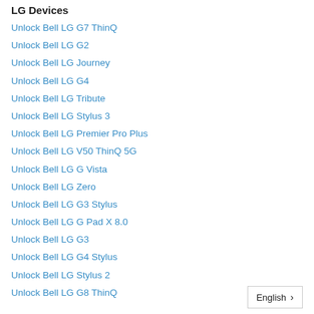LG Devices
Unlock Bell LG G7 ThinQ
Unlock Bell LG G2
Unlock Bell LG Journey
Unlock Bell LG G4
Unlock Bell LG Tribute
Unlock Bell LG Stylus 3
Unlock Bell LG Premier Pro Plus
Unlock Bell LG V50 ThinQ 5G
Unlock Bell LG G Vista
Unlock Bell LG Zero
Unlock Bell LG G3 Stylus
Unlock Bell LG G Pad X 8.0
Unlock Bell LG G3
Unlock Bell LG G4 Stylus
Unlock Bell LG Stylus 2
Unlock Bell LG G8 ThinQ
Motorola Devices
Unlock Bell Motorola Moto E6
Unlock Bell Motorola Moto G Stylus
Unlock Bell Motorola Moto Z Play
Unlock Bell Motorola Moto E5 Play